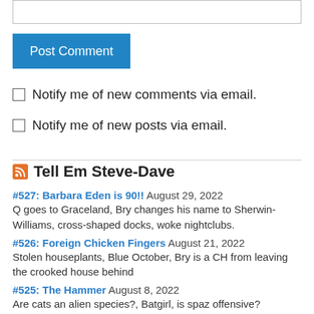[Figure (other): Text input box (comment field)]
Post Comment
Notify me of new comments via email.
Notify me of new posts via email.
Tell Em Steve-Dave
#527: Barbara Eden is 90!!  August 29, 2022
Q goes to Graceland, Bry changes his name to Sherwin-Williams, cross-shaped docks, woke nightclubs.
#526: Foreign Chicken Fingers  August 21, 2022
Stolen houseplants, Blue October, Bry is a CH from leaving the crooked house behind
#525: The Hammer  August 8, 2022
Are cats an alien species?, Batgirl, is spaz offensive?